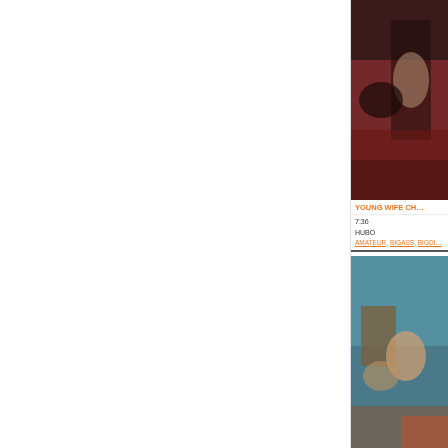[Figure (photo): Thumbnail image for adult video - Young Wife Ch...]
YOUNG WIFE CH…
7:36
HUBO
AMATEUR, BIGASS, BIGDI…
[Figure (photo): Thumbnail image for adult video - Sex On The Beach]
SEX ON THE BEACH…
???
VOYHI…